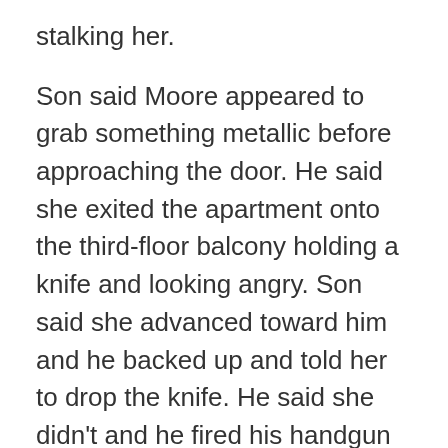stalking her.
Son said Moore appeared to grab something metallic before approaching the door. He said she exited the apartment onto the third-floor balcony holding a knife and looking angry. Son said she advanced toward him and he backed up and told her to drop the knife. He said she didn't and he fired his handgun four times in rapid succession.
Wigmore was asked Wednesday if the amount of alcohol in Moore's system would have affected her understanding of the officer's demand to drop the knife. He said her reaction time "would be delayed, but not significantly." He added that the toxicology report showed no